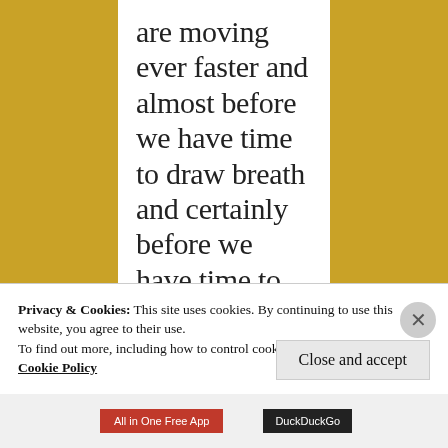are moving ever faster and almost before we have time to draw breath and certainly before we have time to enjoy our Gin and Tonic, especially with
Privacy & Cookies: This site uses cookies. By continuing to use this website, you agree to their use.
To find out more, including how to control cookies, see here: Cookie Policy
Close and accept